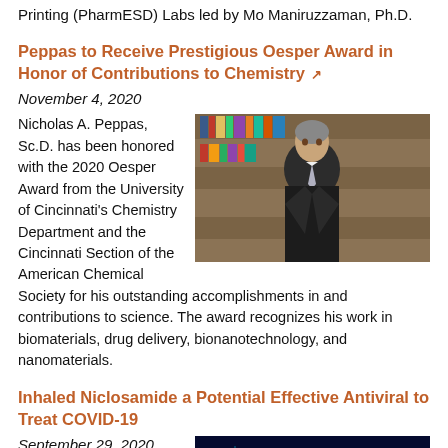Printing (PharmESD) Labs led by Mo Maniruzzaman, Ph.D.
Peppas to Receive Prestigious Oesper Award in Honor of Contributions to Chemistry
November 4, 2020
[Figure (photo): Portrait photo of Nicholas A. Peppas standing in front of bookshelves, wearing a dark suit]
Nicholas A. Peppas, Sc.D. has been honored with the 2020 Oesper Award from the University of Cincinnati's Chemistry Department and the Cincinnati Section of the American Chemical Society for his outstanding accomplishments in and contributions to science. The award recognizes his work in biomaterials, drug delivery, bionanotechnology, and nanomaterials.
Inhaled Niclosamide a Potential Effective Antiviral to Treat COVID-19
September 29, 2020
[Figure (photo): Dark blue/teal scientific microscopy or visualization image related to COVID-19 research]